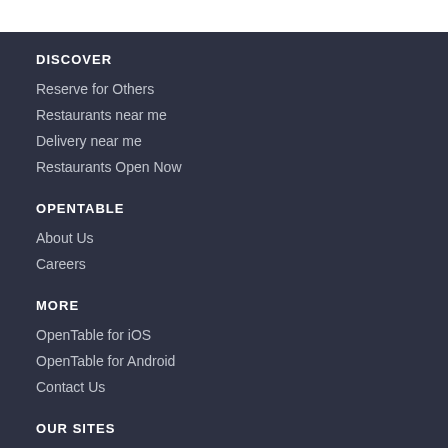DISCOVER
Reserve for Others
Restaurants near me
Delivery near me
Restaurants Open Now
OPENTABLE
About Us
Careers
MORE
OpenTable for iOS
OpenTable for Android
Contact Us
OUR SITES